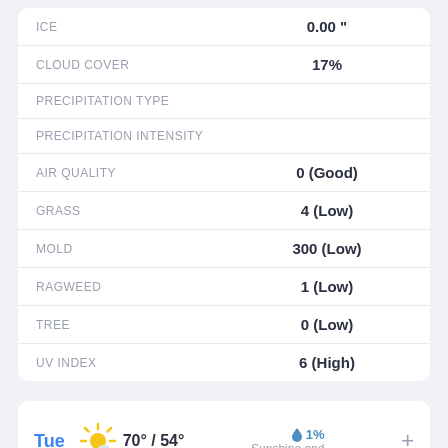| Label | Value |
| --- | --- |
| ICE | 0.00 " |
| CLOUD COVER | 17% |
| PRECIPITATION TYPE |  |
| PRECIPITATION INTENSITY |  |
| AIR QUALITY | 0 (Good) |
| GRASS | 4 (Low) |
| MOLD | 300 (Low) |
| RAGWEED | 1 (Low) |
| TREE | 0 (Low) |
| UV INDEX | 6 (High) |
Tue  70° / 54°  1%  Sunshine and...